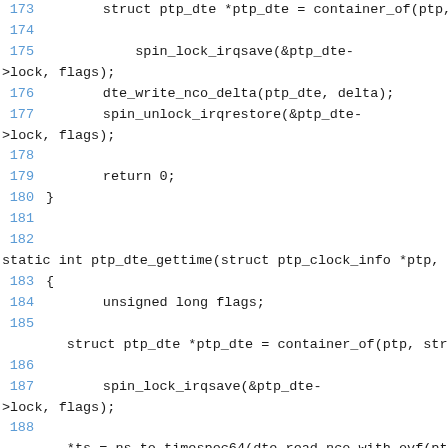Source code listing showing lines 173-189 of a Linux PTP driver implementation, including ptp_dte_gettime function definition with spin_lock_irqsave, dte_write_nco_delta, spin_unlock_irqrestore, and ns_to_timespec64 calls.